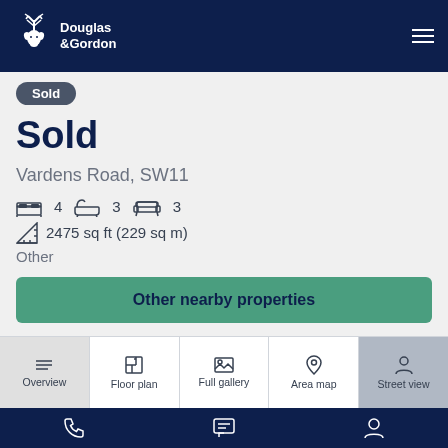Douglas & Gordon — navigation header with logo and hamburger menu
Sold
Sold
Vardens Road, SW11
4 bedrooms, 3 bathrooms, 3 reception rooms
2475 sq ft (229 sq m)
Other
Other nearby properties
Overview | Floor plan | Full gallery | Area map | Street view
Phone | Chat | Account